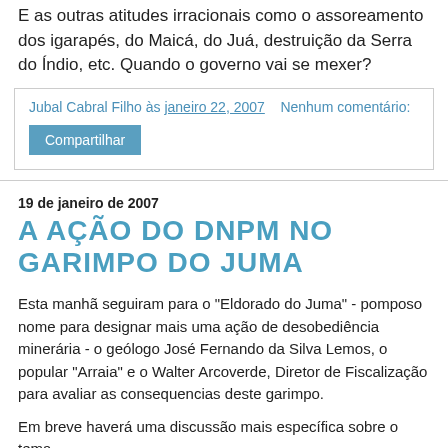E as outras atitudes irracionais como o assoreamento dos igarapés, do Maicá, do Juá, destruição da Serra do Índio, etc. Quando o governo vai se mexer?
Jubal Cabral Filho às janeiro 22, 2007   Nenhum comentário:
Compartilhar
19 de janeiro de 2007
A AÇÃO DO DNPM NO GARIMPO DO JUMA
Esta manhã seguiram para o "Eldorado do Juma" - pomposo nome para designar mais uma ação de desobediência minerária - o geólogo José Fernando da Silva Lemos, o popular "Arraia" e o Walter Arcoverde, Diretor de Fiscalização para avaliar as consequencias deste garimpo.
Em breve haverá uma discussão mais específica sobre o tema.